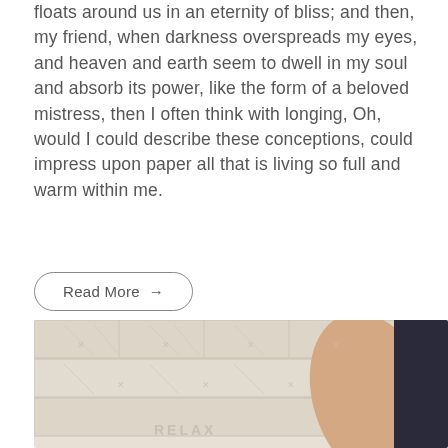floats around us in an eternity of bliss; and then, my friend, when darkness overspreads my eyes, and heaven and earth seem to dwell in my soul and absorb its power, like the form of a beloved mistress, then I often think with longing, Oh, would I could describe these conceptions, could impress upon paper all that is living so full and warm within me.
Read More →
[Figure (photo): A person's arm resting against a white brick/tile wall background, wearing dark clothing. Text 'RELAX' partially visible on the wall.]